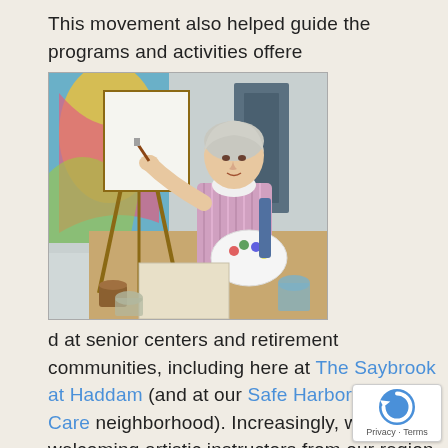This movement also helped guide the programs and activities offere
[Figure (photo): An elderly woman painting at an easel in an art class setting, with a colorful mural visible in the background and art supplies on the table.]
d at senior centers and retirement communities, including here at The Saybrook at Haddam (and at our Safe Harbor Memory Care neighborhood). Increasingly, we are welcoming artistic instructors from our region to teach residents to paint, craft and create.  We have a new bell choir and dra club which meet weekly and rehearse for live performances.  We also host group discussions on